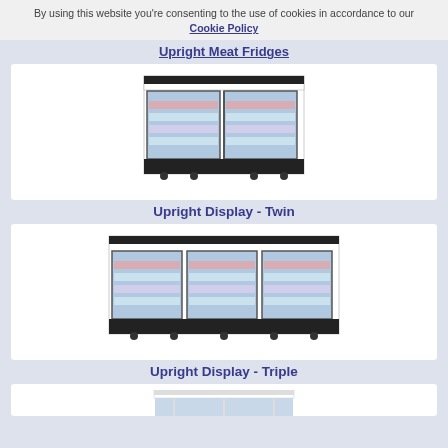By using this website you're consenting to the use of cookies in accordance to our Cookie Policy
Upright Meat Fridges
[Figure (photo): Upright display fridge with two glass doors, white body with black base, stocked with beverages]
Upright Display - Twin
[Figure (photo): Upright display fridge with three glass doors, white body with black base, stocked with beverages]
Upright Display - Triple
[Figure (photo): Partial view of another upright fridge model at bottom of page]